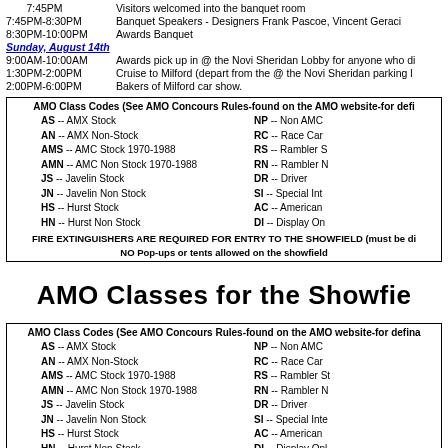7:45PM  Visitors welcomed into the banquet room
7:45PM-8:30PM  Banquet Speakers - Designers Frank Pascoe, Vincent Geraci
8:30PM-10:00PM  Awards Banquet
Sunday, August 14th
9:00AM-10:00AM  Awards pick up in @ the Novi Sheridan Lobby for anyone who di
1:30PM-2:00PM  Cruise to Milford (depart from the @ the Novi Sheridan parking l
2:00PM-6:00PM  Bakers of Milford car show.
| AS -- AMX Stock | NP -- Non AMC |
| AN -- AMX Non-Stock | RC -- Race Car |
| AMS -- AMC Stock 1970-1988 | RS -- Rambler S |
| AMN -- AMC Non Stock 1970-1988 | RN -- Rambler N |
| JS -- Javelin Stock | DR -- Driver |
| JN -- Javelin Non Stock | SI -- Special Int |
| HS -- Hurst Stock | AC -- American |
| HN -- Hurst Non Stock | DI -- Display On |
AMO Classes for the Showfie
| AS -- AMX Stock | NP -- Non AMC |
| AN -- AMX Non-Stock | RC -- Race Car |
| AMS -- AMC Stock 1970-1988 | RS -- Rambler St |
| AMN -- AMC Non Stock 1970-1988 | RN -- Rambler N |
| JS -- Javelin Stock | DR -- Driver |
| JN -- Javelin Non Stock | SI -- Special Inte |
| HS -- Hurst Stock | AC -- American |
| HN -- Hurst Non Stock | DI -- Display Onl |